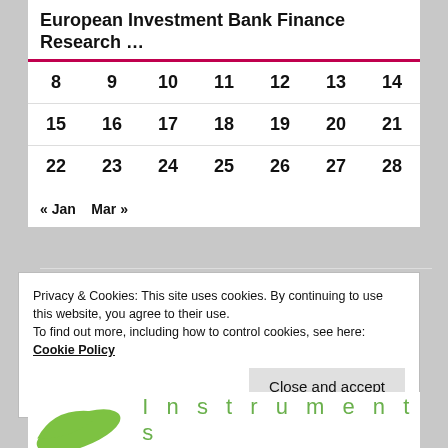European Investment Bank Finance Research …
| 8 | 9 | 10 | 11 | 12 | 13 | 14 |
| 15 | 16 | 17 | 18 | 19 | 20 | 21 |
| 22 | 23 | 24 | 25 | 26 | 27 | 28 |
« Jan   Mar »
Privacy & Cookies: This site uses cookies. By continuing to use this website, you agree to their use.
To find out more, including how to control cookies, see here: Cookie Policy
[Figure (logo): Green logo with leaf shape and 'Instruments' text in green letters]